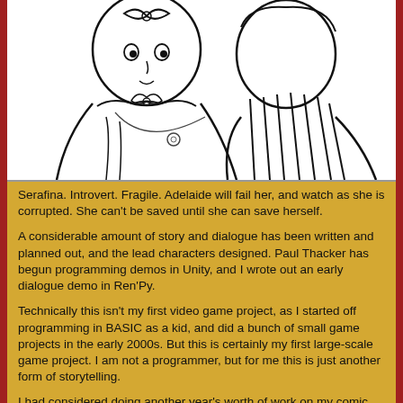[Figure (illustration): Black and white line drawing of two anime-style characters. One character has a bow tie at the neck and wears a necklace with a round pendant. Another character is visible behind/beside them, with striped clothing.]
Serafina. Introvert. Fragile. Adelaide will fail her, and watch as she is corrupted. She can't be saved until she can save herself.
A considerable amount of story and dialogue has been written and planned out, and the lead characters designed. Paul Thacker has begun programming demos in Unity, and I wrote out an early dialogue demo in Ren'Py.
Technically this isn't my first video game project, as I started off programming in BASIC as a kid, and did a bunch of small game projects in the early 2000s. But this is certainly my first large-scale game project. I am not a programmer, but for me this is just another form of storytelling.
I had considered doing another year's worth of work on my comic The Chosen Ones, but the script for that piece was originally written back in 2005, and I feel, to an extent, that I've moved on